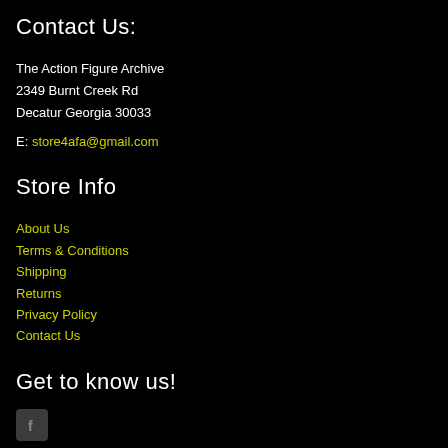Contact Us:
The Action Figure Archive
2349 Burnt Creek Rd
Decatur Georgia 30033
E: store4afa@gmail.com
Store Info
About Us
Terms & Conditions
Shipping
Returns
Privacy Policy
Contact Us
Get to know us!
[Figure (logo): Facebook icon - small grey square with white f letter]
We Accept